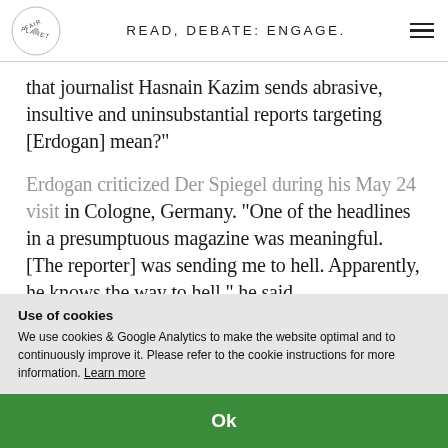READ, DEBATE: ENGAGE.
that journalist Hasnain Kazim sends abrasive, insultive and uninsubstantial reports targeting [Erdogan] mean?"
Erdogan criticized Der Spiegel during his May 24 visit in Cologne, Germany. "One of the headlines in a presumptuous magazine was meaningful. [The reporter] was sending me to hell. Apparently, he knows the way to hell," he said.
Use of cookies
We use cookies & Google Analytics to make the website optimal and to continuously improve it. Please refer to the cookie instructions for more information. Learn more
Ok